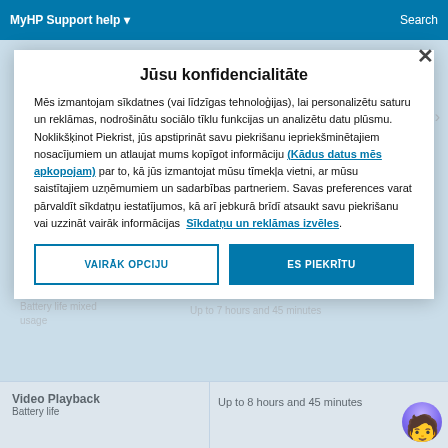MyHP Support help  Search
Jūsu konfidencialitāte
Mēs izmantojam sīkdatnes (vai līdzīgas tehnoloģijas), lai personalizētu saturu un reklāmas, nodrošinātu sociālo tīklu funkcijas un analizētu datu plūsmu. Noklikšķinot Piekrist, jūs apstiprināt savu piekrišanu iepriekšminētajiem nosacījumiem un atlaujat mums kopīgot informāciju (Kādus datus mēs apkopojam) par to, kā jūs izmantojat mūsu tīmekļa vietni, ar mūsu saistītajiem uzņēmumiem un sadarbības partneriem. Savas preferences varat pārvaldīt sīkdatņu iestatījumos, kā arī jebkurā brīdī atsaukt savu piekrišanu vai uzzināt vairāk informācijas Sīkdatņu un reklāmas izvēles.
VAIRĀK OPCIJU
ES PIEKRĪTU
Video Playback
Up to 8 hours and 45 minutes